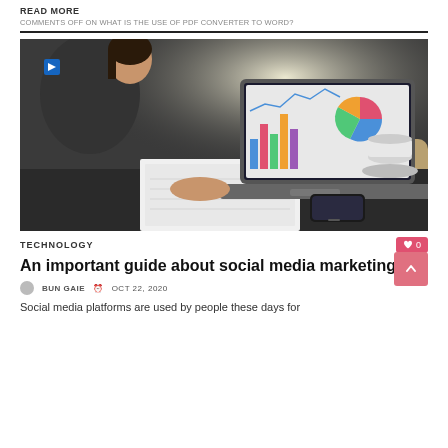READ MORE
COMMENTS OFF ON WHAT IS THE USE OF PDF CONVERTER TO WORD?
[Figure (photo): Woman sitting at a table writing in a notebook with an open laptop showing charts and graphs, and a coffee cup and smartphone nearby.]
TECHNOLOGY
An important guide about social media marketing
BUN GAIE  OCT 22, 2020
Social media platforms are used by people these days for